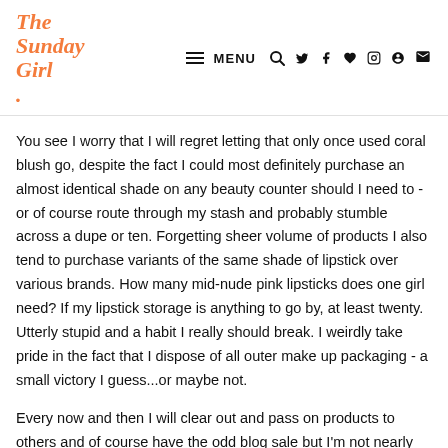The Sunday Girl. — MENU
You see I worry that I will regret letting that only once used coral blush go, despite the fact I could most definitely purchase an almost identical shade on any beauty counter should I need to - or of course route through my stash and probably stumble across a dupe or ten. Forgetting sheer volume of products I also tend to purchase variants of the same shade of lipstick over various brands. How many mid-nude pink lipsticks does one girl need? If my lipstick storage is anything to go by, at least twenty. Utterly stupid and a habit I really should break. I weirdly take pride in the fact that I dispose of all outer make up packaging - a small victory I guess...or maybe not.
Every now and then I will clear out and pass on products to others and of course have the odd blog sale but I'm not nearly as ruthless as I should be. I hasten to add that I